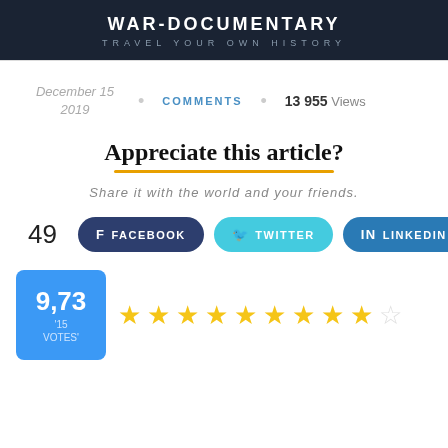WAR-DOCUMENTARY
TRAVEL YOUR OWN HISTORY
December 15 2019 • COMMENTS • 13 955 Views
Appreciate this article?
Share it with the world and your friends.
49 FACEBOOK TWITTER LINKEDIN
9,73 '15 VOTES' ★★★★★★★★★☆